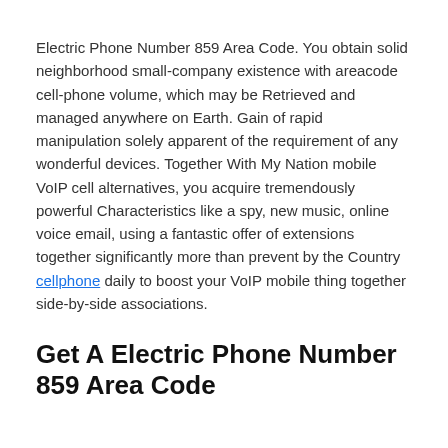Electric Phone Number 859 Area Code. You obtain solid neighborhood small-company existence with areacode cell-phone volume, which may be Retrieved and managed anywhere on Earth. Gain of rapid manipulation solely apparent of the requirement of any wonderful devices. Together With My Nation mobile VoIP cell alternatives, you acquire tremendously powerful Characteristics like a spy, new music, online voice email, using a fantastic offer of extensions together significantly more than prevent by the Country cellphone daily to boost your VoIP mobile thing together side-by-side associations.
Get A Electric Phone Number 859 Area Code